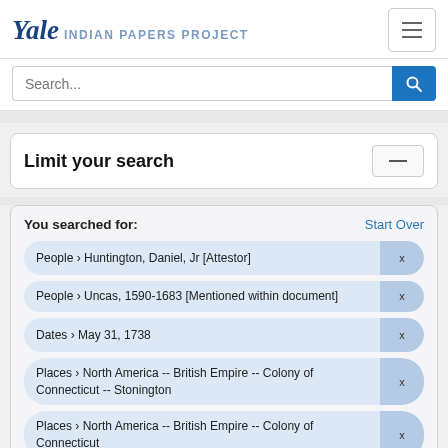Yale INDIAN PAPERS PROJECT
Search...
Limit your search
You searched for:
Start Over
People › Huntington, Daniel, Jr [Attestor]  x
People › Uncas, 1590-1683 [Mentioned within document]  x
Dates › May 31, 1738  x
Places › North America -- British Empire -- Colony of Connecticut -- Stonington  x
Places › North America -- British Empire -- Colony of Connecticut  x